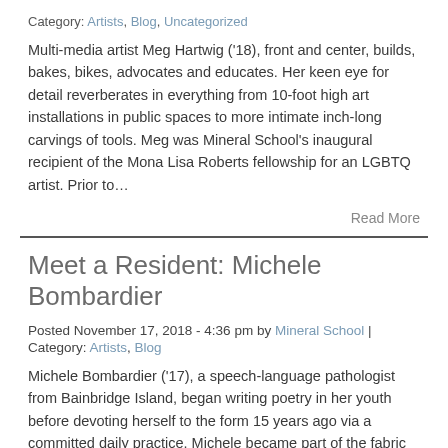Category: Artists, Blog, Uncategorized
Multi-media artist Meg Hartwig ('18), front and center, builds, bakes, bikes, advocates and educates. Her keen eye for detail reverberates in everything from 10-foot high art installations in public spaces to more intimate inch-long carvings of tools. Meg was Mineral School's inaugural recipient of the Mona Lisa Roberts fellowship for an LGBTQ artist. Prior to…
Read More
Meet a Resident: Michele Bombardier
Posted November 17, 2018 - 4:36 pm by Mineral School | Category: Artists, Blog
Michele Bombardier ('17), a speech-language pathologist from Bainbridge Island, began writing poetry in her youth before devoting herself to the form 15 years ago via a committed daily practice. Michele became part of the fabric at Mineral during her